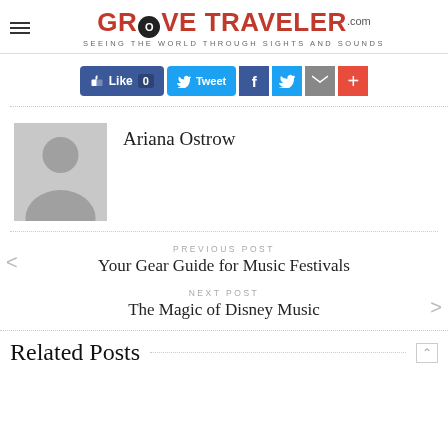GROOVETRAVELER.com — SEEING THE WORLD THROUGH SIGHTS AND SOUNDS
[Figure (screenshot): Social sharing buttons: Like 0, Tweet, Facebook, Twitter, Email, Plus]
Ariana Ostrow
PREVIOUS POST
Your Gear Guide for Music Festivals
NEXT POST
The Magic of Disney Music
Related Posts